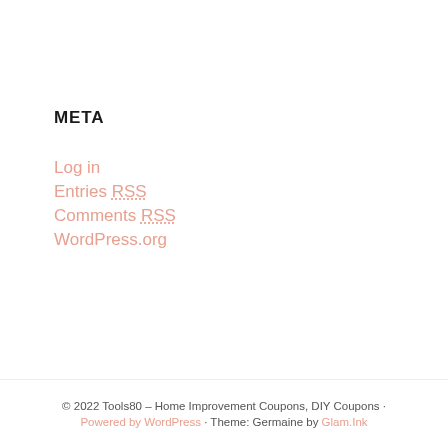META
Log in
Entries RSS
Comments RSS
WordPress.org
© 2022 Tools80 – Home Improvement Coupons, DIY Coupons · Powered by WordPress · Theme: Germaine by Glam.Ink